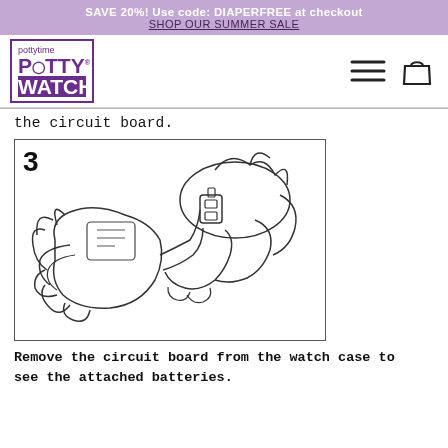SAVE 20%! Use code: DIAPERFREE at checkout
SHOP OUR SUMMER SALE
[Figure (logo): Pottytime Potty Watch logo in purple square border]
the circuit board.
[Figure (illustration): Step 3 illustration showing hands removing circuit board from watch case, line drawing style]
Remove the circuit board from the watch case to see the attached batteries.